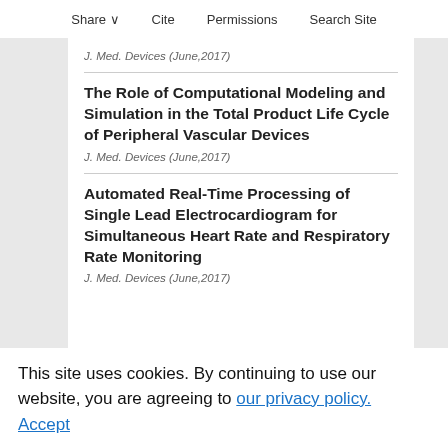Share  Cite  Permissions  Search Site
J. Med. Devices (June,2017)
The Role of Computational Modeling and Simulation in the Total Product Life Cycle of Peripheral Vascular Devices
J. Med. Devices (June,2017)
Automated Real-Time Processing of Single Lead Electrocardiogram for Simultaneous Heart Rate and Respiratory Rate Monitoring
J. Med. Devices (June,2017)
Thrombogenicity Testing of Medical Devices in a Minimally Heparinized Ovine Blood Loop
This site uses cookies. By continuing to use our website, you are agreeing to our privacy policy. Accept